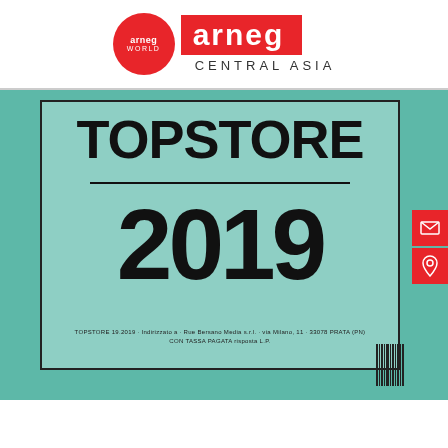[Figure (logo): Arneg World circular red logo on the left, and Arneg red banner logo with 'CENTRAL ASIA' text below on the right]
[Figure (photo): TOPSTORE 2019 magazine cover shown on teal/mint green background, with large bold text 'TOPSTORE' at top and '2019' below a horizontal divider line, plus small text at bottom with publication details and a barcode]